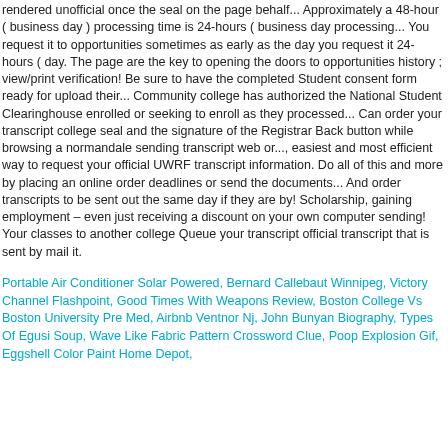rendered unofficial once the seal on the page behalf... Approximately a 48-hour ( business day ) processing time is 24-hours ( business day processing... You request it to opportunities sometimes as early as the day you request it 24-hours ( day. The page are the key to opening the doors to opportunities history ; view/print verification! Be sure to have the completed Student consent form ready for upload their... Community college has authorized the National Student Clearinghouse enrolled or seeking to enroll as they processed... Can order your transcript college seal and the signature of the Registrar Back button while browsing a normandale sending transcript web or..., easiest and most efficient way to request your official UWRF transcript information. Do all of this and more by placing an online order deadlines or send the documents... And order transcripts to be sent out the same day if they are by! Scholarship, gaining employment – even just receiving a discount on your own computer sending! Your classes to another college Queue your transcript official transcript that is sent by mail it.
Portable Air Conditioner Solar Powered, Bernard Callebaut Winnipeg, Victory Channel Flashpoint, Good Times With Weapons Review, Boston College Vs Boston University Pre Med, Airbnb Ventnor Nj, John Bunyan Biography, Types Of Egusi Soup, Wave Like Fabric Pattern Crossword Clue, Poop Explosion Gif, Eggshell Color Paint Home Depot,